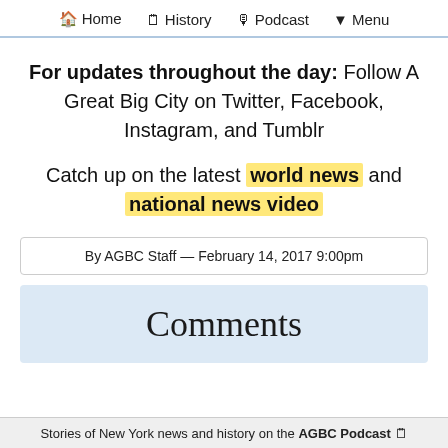🏠 Home  🗒 History  🎙 Podcast  ▼ Menu
For updates throughout the day: Follow A Great Big City on Twitter, Facebook, Instagram, and Tumblr
Catch up on the latest world news and national news video
By AGBC Staff — February 14, 2017 9:00pm
Comments
Stories of New York news and history on the AGBC Podcast 🗒